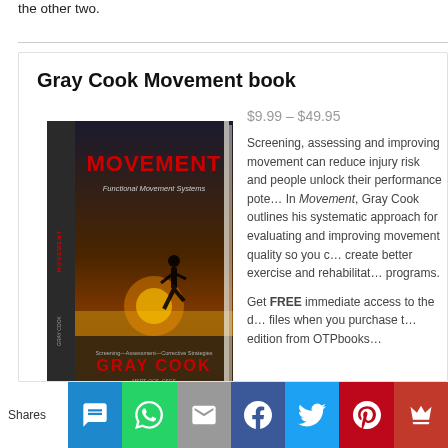the other two.
[Figure (illustration): Book cover of 'Movement: Functional Movement Systems' by Gray Cook, showing a runner on a beach at sunset with red title text and author name]
Gray Cook Movement book
$9.99 – $49.95
Screening, assessing and improving movement can reduce injury risk and people unlock their performance potential. In Movement, Gray Cook outlines his systematic approach for evaluating and improving movement quality so you can create better exercise and rehabilitation programs.
Get FREE immediate access to the digital files when you purchase the print edition from OTPbooks…